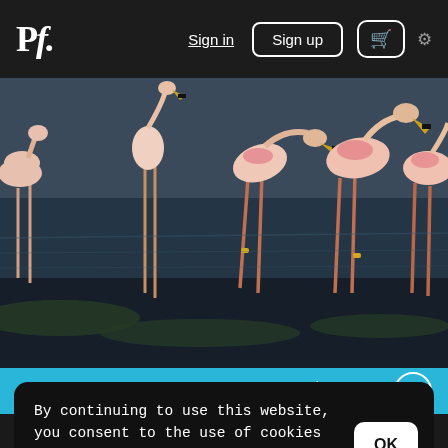Pf. | Sign in | Sign up | cart | settings
[Figure (photo): Flamingos wading in shallow water with dark muddy bottom and greenish algae patches. Multiple flamingos with pink plumage and yellow-black bills visible. Credit: by robertharding]
$57.48 c
By continuing to use this website, you consent to the use of cookies in accordance with our Cookie Policy.
[Figure (photo): Partial view of another photo at the bottom of the page]